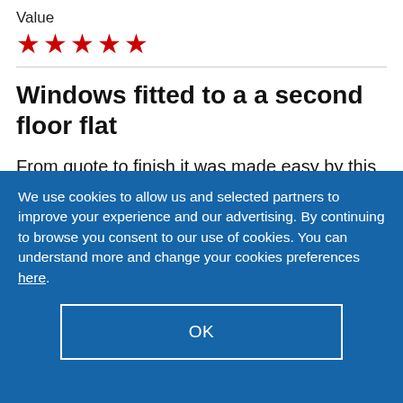Value
[Figure (other): Five red star rating icons]
Windows fitted to a a second floor flat
From quote to finish it was made easy by this company, they have fitted windows to other
We use cookies to allow us and selected partners to improve your experience and our advertising. By continuing to browse you consent to our use of cookies. You can understand more and change your cookies preferences here.
OK